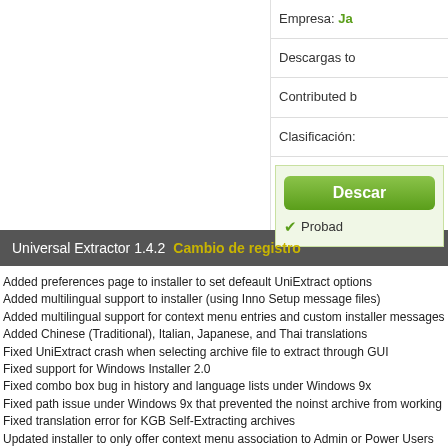Empresa: Ja...
Descargas to...
Contributed b...
Clasificación:
Descar...
Probad...
Universal Extractor 1.4.2  Cambio de registro
Added preferences page to installer to set defeault UniExtract options
Added multilingual support to installer (using Inno Setup message files)
Added multilingual support for context menu entries and custom installer messages
Added Chinese (Traditional), Italian, Japanese, and Thai translations
Fixed UniExtract crash when selecting archive file to extract through GUI
Fixed support for Windows Installer 2.0
Fixed combo box bug in history and language lists under Windows 9x
Fixed path issue under Windows 9x that prevented the noinst archive from working
Fixed translation error for KGB Self-Extracting archives
Updated installer to only offer context menu association to Admin or Power Users
Updated innounp to 0.18
Updated Inno Setup installer to 5.1.8
Updated Inno Setup CLI Help to 1.1
Updated Chinese (Simplified) translation
Updated UniExtract to display status box higher on screen to prevent overlap
Universal Extractor 1.4.2  Imágenes
[Figure (other): Thumbnail image placeholders row]